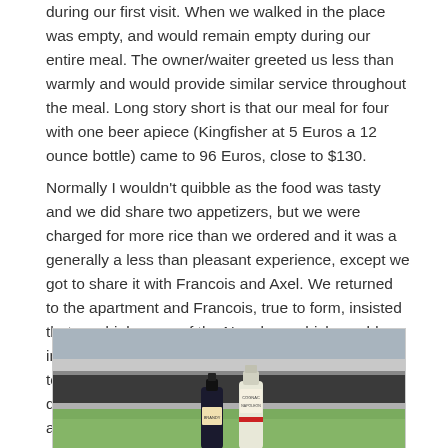during our first visit.  When we walked in the place was empty, and would remain empty during our entire meal.  The owner/waiter greeted us less than warmly and would provide similar service throughout the meal.  Long story short is that our meal for four with one beer apiece (Kingfisher at 5 Euros a 12 ounce bottle) came to 96 Euros, close to $130.
Normally I wouldn't quibble as the food was tasty and we did share two appetizers, but we were charged for more rice than we ordered and it was a generally a less than pleasant experience, except we got to share it with Francois and Axel.  We returned to the apartment and Francois, true to form, insisted that we drink some of the Napoleon which would indeed disappear during our stay.  I don't really wish to be wealthy, what I have is enough for me, but if I did have money, I'd drink really good cognac each and every day.
[Figure (photo): Photo of two bottles on a surface, taken from inside a vehicle or near a window with a blurred outdoor background showing greenery.]